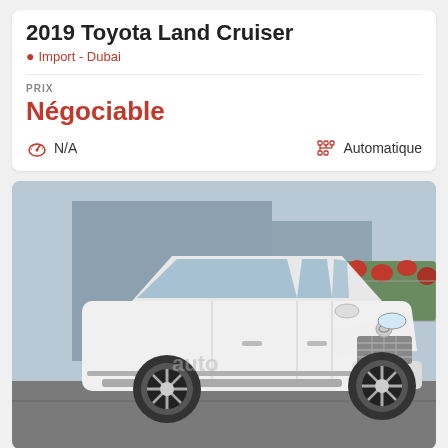2019 Toyota Land Cruiser
Import - Dubai
PRIX
Négociable
N/A
Automatique
[Figure (photo): White 2019 Toyota Land Cruiser SUV photographed from the front-left angle in a parking area. The vehicle is white, with chrome grille, large alloy wheels. Background shows a building and red flowers/hedge.]